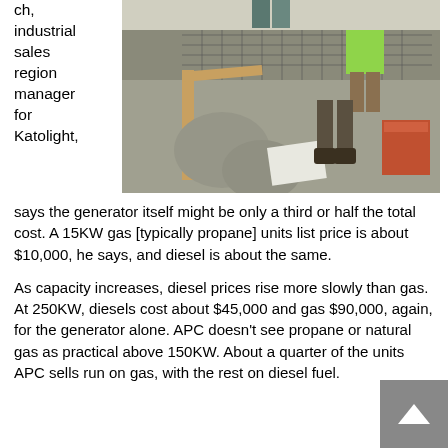ch, industrial sales region manager for Katolight,
[Figure (photo): Construction workers working on a concrete floor with wood framing and rebar mesh inside a building. Workers in yellow safety vests and hard hats are visible.]
says the generator itself might be only a third or half the total cost. A 15KW gas [typically propane] units list price is about $10,000, he says, and diesel is about the same.
As capacity increases, diesel prices rise more slowly than gas. At 250KW, diesels cost about $45,000 and gas $90,000, again, for the generator alone. APC doesn’t see propane or natural gas as practical above 150KW. About a quarter of the units APC sells run on gas, with the rest on diesel fuel.